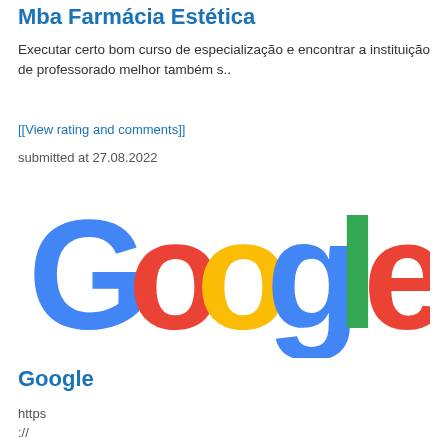Mba Farmácia Estética
Executar certo bom curso de especialização e encontrar a instituição de professorado melhor também s..
[[View rating and comments]]
submitted at 27.08.2022
[Figure (logo): Google logo with multicolored letters: G in blue, o in red, o in yellow, g in blue, l in green, e in red]
Google
https
://